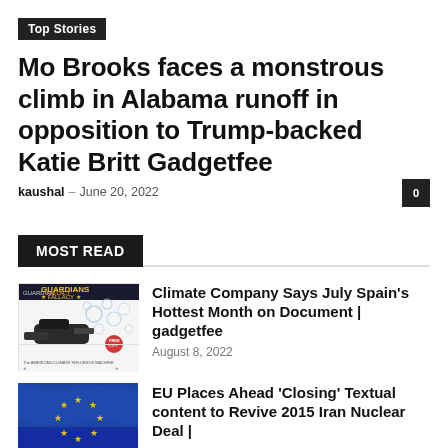Top Stories
Mo Brooks faces a monstrous climb in Alabama runoff in opposition to Trump-backed Katie Britt Gadgetfee
kaushal – June 20, 2022
MOST READ
[Figure (photo): Guardians of Fallacy book/movie cover with bubbles and spaceship imagery]
Climate Company Says July Spain's Hottest Month on Document | gadgetfee
August 8, 2022
[Figure (photo): EU blue flag with yellow stars waving]
EU Places Ahead 'Closing' Textual content to Revive 2015 Iran Nuclear Deal | gadgetfee